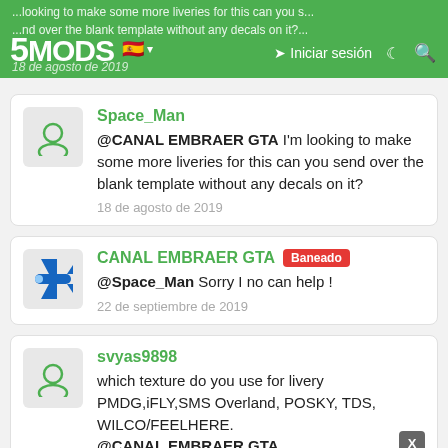5MODS | Iniciar sesión
Space_Man
@CANAL EMBRAER GTA I'm looking to make some more liveries for this can you send over the blank template without any decals on it?
18 de agosto de 2019
CANAL EMBRAER GTA [Baneado]
@Space_Man Sorry I no can help !
22 de septiembre de 2019
svyas9898
which texture do you use for livery PMDG,iFLY,SMS Overland, POSKY, TDS, WILCO/FEELHERE. @CANAL EMBRAER GTA
5 de enero de 2020